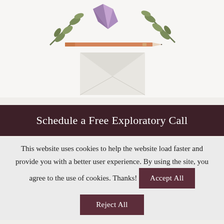[Figure (photo): Flat lay photo on white background showing green leaves/olive branches, a purple amethyst crystal, a rose gold/copper pencil, and a light grey envelope.]
Schedule a Free Exploratory Call
This website uses cookies to help the website load faster and provide you with a better user experience. By using the site, you agree to the use of cookies. Thanks!
Accept All
Reject All